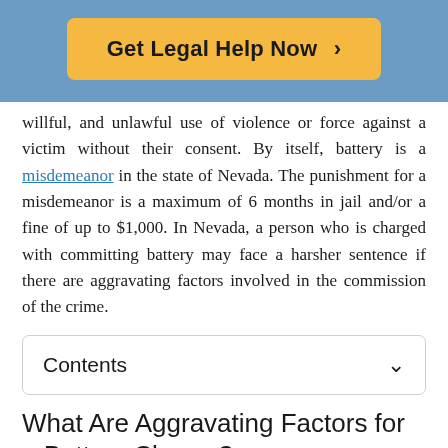[Figure (other): Orange 'Get Legal Help Now >' call-to-action button on a blue banner background]
willful, and unlawful use of violence or force against a victim without their consent. By itself, battery is a misdemeanor in the state of Nevada. The punishment for a misdemeanor is a maximum of 6 months in jail and/or a fine of up to $1,000. In Nevada, a person who is charged with committing battery may face a harsher sentence if there are aggravating factors involved in the commission of the crime.
Contents
What Are Aggravating Factors for a Battery Charge?